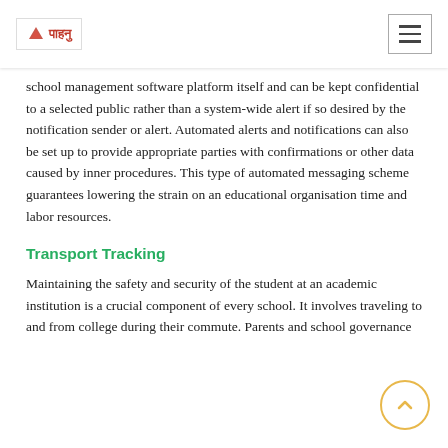पाहनु (logo) | menu button
school management software platform itself and can be kept confidential to a selected public rather than a system-wide alert if so desired by the notification sender or alert. Automated alerts and notifications can also be set up to provide appropriate parties with confirmations or other data caused by inner procedures. This type of automated messaging scheme guarantees lowering the strain on an educational organisation time and labor resources.
Transport Tracking
Maintaining the safety and security of the student at an academic institution is a crucial component of every school. It involves traveling to and from college during their commute. Parents and school governance